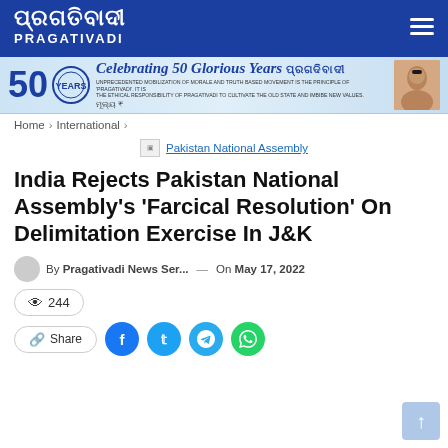PRAGATIVADI
[Figure (illustration): Pragativadi newspaper 50th anniversary banner - Celebrating 50 Glorious Years]
Home > International >
Pakistan National Assembly
India Rejects Pakistan National Assembly's 'Farcical Resolution' On Delimitation Exercise In J&K
By Pragativadi News Ser... — On May 17, 2022
244
Share